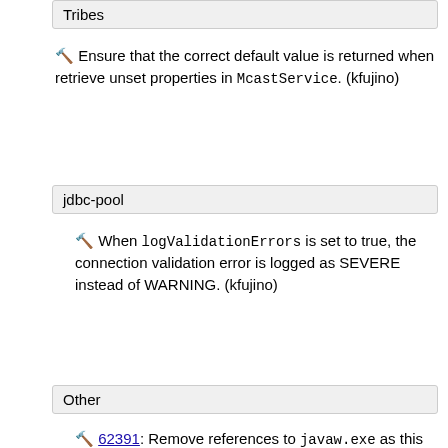Tribes
🔨 Ensure that the correct default value is returned when retrieve unset properties in McastService. (kfujino)
jdbc-pool
🔨 When logValidationErrors is set to true, the connection validation error is logged as SEVERE instead of WARNING. (kfujino)
Other
🔨 62391: Remove references to javaw.exe as this file is not required